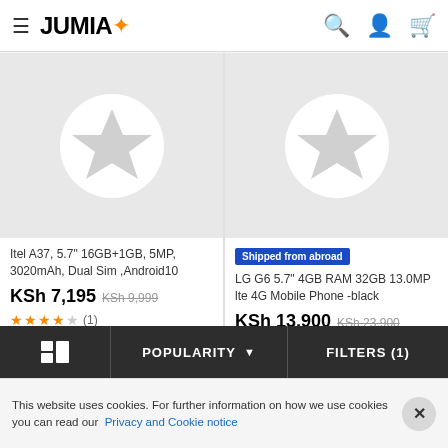JUMIA
[Figure (screenshot): Product card for Itel A37 smartphone with placeholder star icon image]
Itel A37, 5.7" 16GB+1GB, 5MP, 3020mAh, Dual Sim ,Android10
KSh 7,195  KSh 9,999
★★★★☆ (1)
[Figure (screenshot): Product card for LG G6 smartphone with placeholder star icon image and 'Shipped from abroad' badge]
Shipped from abroad
LG G6 5.7" 4GB RAM 32GB 13.0MP lte 4G Mobile Phone -black
KSh 13,900  KSh 23,900
POPULARITY  FILTERS (1)
This website uses cookies. For further information on how we use cookies you can read our  Privacy and Cookie notice